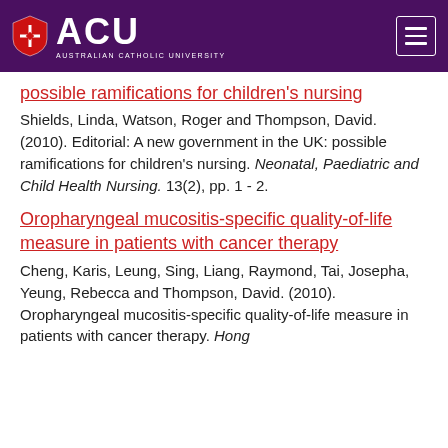[Figure (logo): ACU (Australian Catholic University) logo with shield icon on purple header background, with hamburger menu icon top right]
possible ramifications for children's nursing
Shields, Linda, Watson, Roger and Thompson, David. (2010). Editorial: A new government in the UK: possible ramifications for children's nursing. Neonatal, Paediatric and Child Health Nursing. 13(2), pp. 1 - 2.
Oropharyngeal mucositis-specific quality-of-life measure in patients with cancer therapy
Cheng, Karis, Leung, Sing, Liang, Raymond, Tai, Josepha, Yeung, Rebecca and Thompson, David. (2010). Oropharyngeal mucositis-specific quality-of-life measure in patients with cancer therapy. Hong